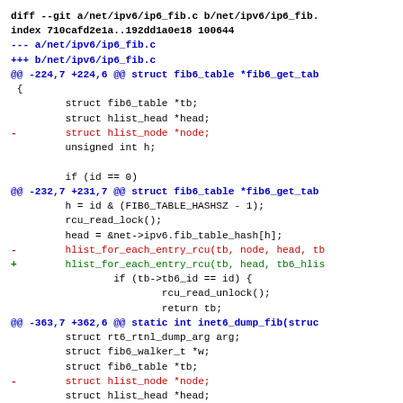diff --git a/net/ipv6/ip6_fib.c b/net/ipv6/ip6_fib.
index 710cafd2e1a..192dd1a0e18 100644
--- a/net/ipv6/ip6_fib.c
+++ b/net/ipv6/ip6_fib.c
@@ -224,7 +224,6 @@ struct fib6_table *fib6_get_tab
 {
         struct fib6_table *tb;
         struct hlist_head *head;
-        struct hlist_node *node;
         unsigned int h;

         if (id == 0)
@@ -232,7 +231,7 @@ struct fib6_table *fib6_get_tab
         h = id & (FIB6_TABLE_HASHSZ - 1);
         rcu_read_lock();
         head = &net->ipv6.fib_table_hash[h];
-        hlist_for_each_entry_rcu(tb, node, head, tb
+        hlist_for_each_entry_rcu(tb, head, tb6_hlis
                 if (tb->tb6_id == id) {
                         rcu_read_unlock();
                         return tb;
@@ -363,7 +362,6 @@ static int inet6_dump_fib(struc
         struct rt6_rtnl_dump_arg arg;
         struct fib6_walker_t *w;
         struct fib6_table *tb;
-        struct hlist_node *node;
         struct hlist_head *head;
         int res = 0;

@@ -393,7 +393,7 @@ static int inet6_dump_fib(filf...